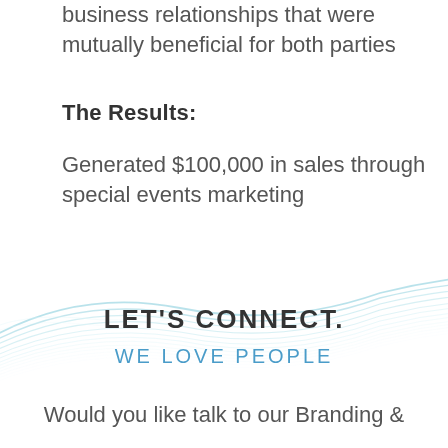business relationships that were mutually beneficial for both parties
The Results:
Generated $100,000 in sales through special events marketing
[Figure (illustration): Decorative wave lines graphic in light teal and white]
LET'S CONNECT.
WE LOVE PEOPLE
Would you like talk to our Branding &